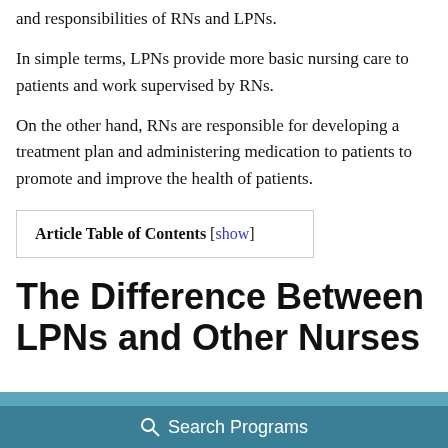and responsibilities of RNs and LPNs.
In simple terms, LPNs provide more basic nursing care to patients and work supervised by RNs.
On the other hand, RNs are responsible for developing a treatment plan and administering medication to patients to promote and improve the health of patients.
| Article Table of Contents [show] |
The Difference Between LPNs and Other Nurses
[Figure (photo): Partial image of nurses, partially visible at bottom of page]
Search Programs